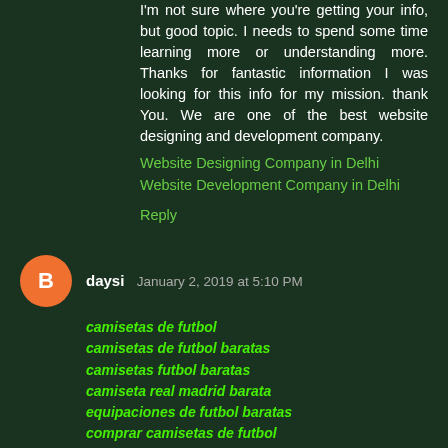I'm not sure where you're getting your info, but good topic. I needs to spend some time learning more or understanding more. Thanks for fantastic information I was looking for this info for my mission. thank You. We are one of the best website designing and development company.
Website Designing Company in Delhi
Website Development Company in Delhi
Reply
daysi January 2, 2019 at 5:10 PM
camisetas de futbol
camisetas de futbol baratas
camisetas futbol baratas
camiseta real madrid barata
equipaciones de futbol baratas
comprar camisetas de futbol
camisetas de futbol baratas 2017
comprar camisetas de futbol
tiendas de futbol
camisetas de futbol
camisetas futbol baratas